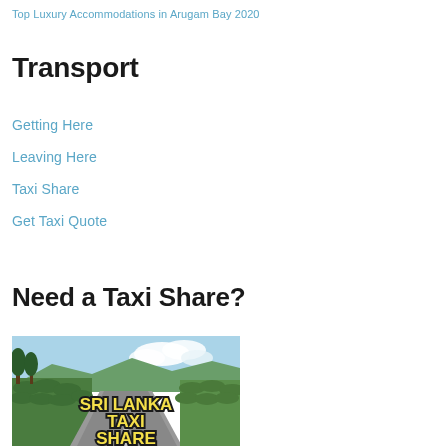Top Luxury Accommodations in Arugam Bay 2020
Transport
Getting Here
Leaving Here
Taxi Share
Get Taxi Quote
Need a Taxi Share?
[Figure (photo): Sri Lanka Taxi Share promotional image showing a scenic mountain road with tea plantations and trees, with bold yellow text overlay reading 'SRI LANKA TAXI SHARE']